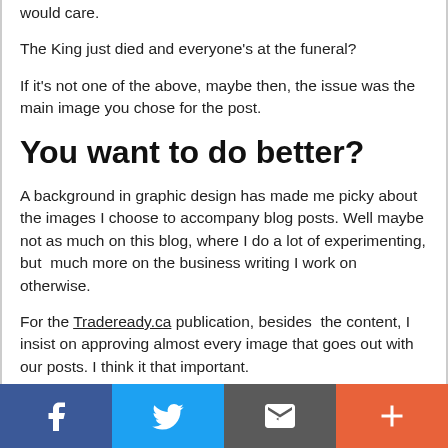would care.
The King just died and everyone's at the funeral?
If it's not one of the above, maybe then, the issue was the main image you chose for the post.
You want to do better?
A background in graphic design has made me picky about the images I choose to accompany blog posts. Well maybe not as much on this blog, where I do a lot of experimenting, but  much more on the business writing I work on otherwise.
For the Tradeready.ca publication, besides  the content, I insist on approving almost every image that goes out with our posts. I think it that important.
Choosing an image?
[Figure (infographic): Social share bar with four buttons: Facebook (blue), Twitter (light blue), Email/envelope (dark grey), and Plus/more (orange-red)]